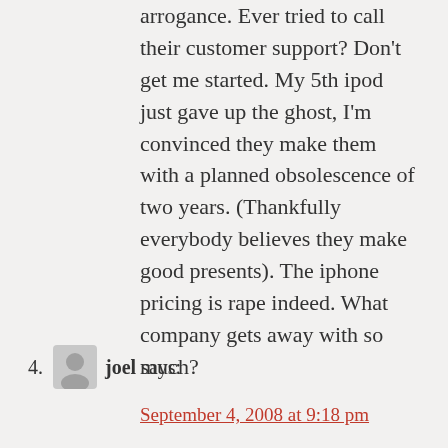arrogance. Ever tried to call their customer support? Don't get me started. My 5th ipod just gave up the ghost, I'm convinced they make them with a planned obsolescence of two years. (Thankfully everybody believes they make good presents). The iphone pricing is rape indeed. What company gets away with so much?
4. joel says:
September 4, 2008 at 9:18 pm